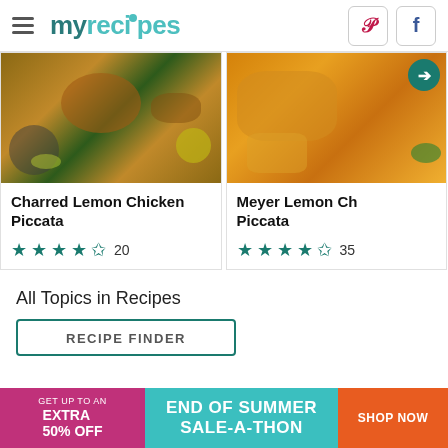myrecipes
[Figure (photo): Charred Lemon Chicken Piccata dish photo - chicken in a pan with lemon slices and herbs]
Charred Lemon Chicken Piccata
★★★★½ 20
[Figure (photo): Meyer Lemon Chicken Piccata dish photo - golden baked chicken with capers and herbs]
Meyer Lemon Ch Piccata
★★★★½ 35
All Topics in Recipes
RECIPE FINDER
[Figure (infographic): End of Summer Sale-A-Thon advertisement banner: Get up to an extra 50% off | End of Summer Sale-A-Thon | Shop Now]